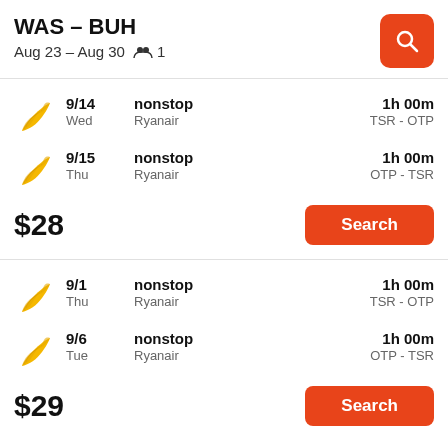WAS – BUH
Aug 23 – Aug 30  👥 1
Flight 1: 9/14, Wed, nonstop, Ryanair, 1h 00m, TSR - OTP
Flight 2: 9/15, Thu, nonstop, Ryanair, 1h 00m, OTP - TSR
$28
Search
Flight 3: 9/1, Thu, nonstop, Ryanair, 1h 00m, TSR - OTP
Flight 4: 9/6, Tue, nonstop, Ryanair, 1h 00m, OTP - TSR
$29
Search